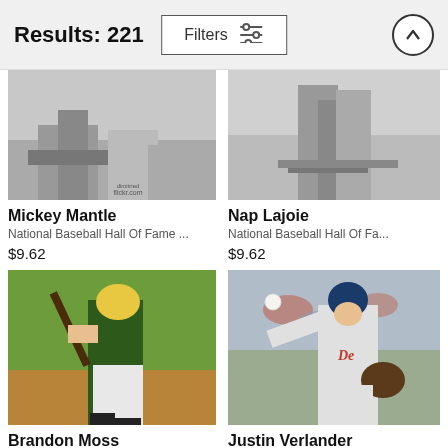Results: 221
Filters
[Figure (photo): Black and white photo of Mickey Mantle baseball action, feet/legs visible at base]
Mickey Mantle
National Baseball Hall Of Fame ...
$9.62
[Figure (photo): Black and white photo of Nap Lajoie baseball action, feet visible]
Nap Lajoie
National Baseball Hall Of Fa...
$9.62
[Figure (photo): Color photo of Brandon Moss batting for Oakland A's, wearing green uniform]
Brandon Moss
Jason Miller
[Figure (photo): Color photo of Justin Verlander pitching for Detroit Tigers, wearing grey uniform]
Justin Verlander
Greg Fiume